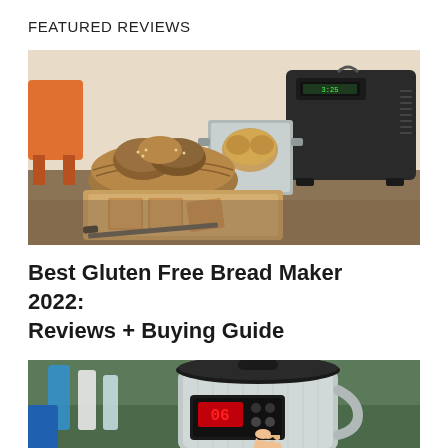FEATURED REVIEWS
[Figure (photo): Photo of a bread maker machine (black) on a table next to a metal baking pan with bread rolls, a wicker basket with various breads, and sliced bread on a wooden cutting board. Bright kitchen background with orange chair.]
Best Gluten Free Bread Maker 2022: Reviews + Buying Guide
[Figure (photo): Photo of a stainless steel and black multi-cooker / instant pot on a kitchen counter, with a hand pressing a button showing a red digital display (06). Bottles and kitchenware visible in background.]